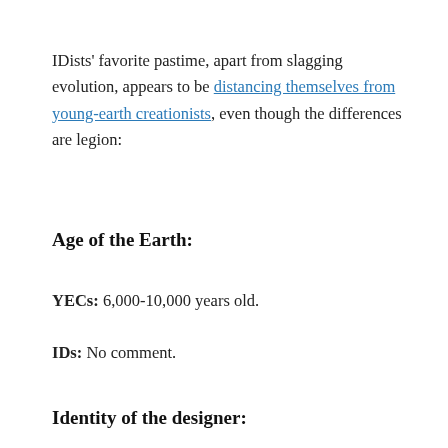IDists' favorite pastime, apart from slagging evolution, appears to be distancing themselves from young-earth creationists, even though the differences are legion:
Age of the Earth:
YECs: 6,000-10,000 years old.
IDs: No comment.
Identity of the designer: